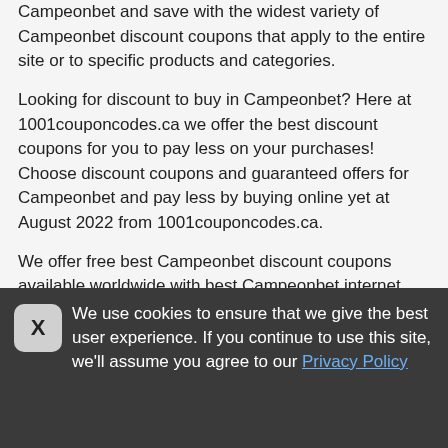Campeonbet and save with the widest variety of Campeonbet discount coupons that apply to the entire site or to specific products and categories.
Looking for discount to buy in Campeonbet? Here at 1001couponcodes.ca we offer the best discount coupons for you to pay less on your purchases! Choose discount coupons and guaranteed offers for Campeonbet and pay less by buying online yet at August 2022 from 1001couponcodes.ca.
We offer free best Campeonbet discount coupons available worldwide with best Campeonbet internet conditions to
We use cookies to ensure that we give the best user experience. If you continue to use this site, we'll assume you agree to our Privacy Policy